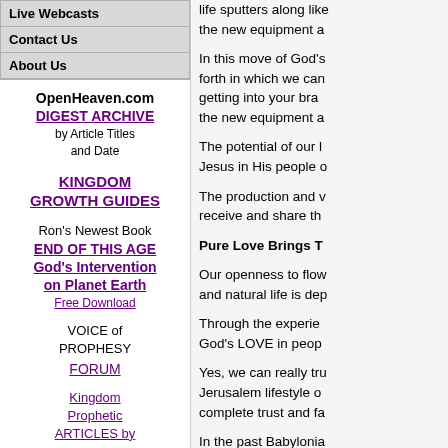Live Webcasts
Contact Us
About Us
OpenHeaven.com
DIGEST ARCHIVE
by Article Titles and Date
KINGDOM GROWTH GUIDES
Ron's Newest Book
END OF THIS AGE God's Intervention on Planet Earth
Free Download
VOICE of PROPHESY
FORUM
Kingdom Prophetic ARTICLES by
life sputters along like the new equipment a
In this move of God's forth in which we can getting into your bra the new equipment a
The potential of our l Jesus in His people o
The production and v receive and share th
Pure Love Brings T
Our openness to flow and natural life is dep
Through the experie God's LOVE in peop
Yes, we can really tru Jerusalem lifestyle o complete trust and fa
In the past Babylonia in governments and trust between people that live by its ways a of ungodly, unloving,
The enemy knows th trust in one another a